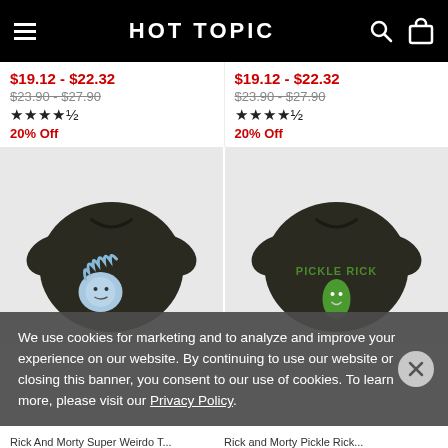HOT TOPIC
$19.12 - $22.32
$23.90 - $27.90
★★★★½
20% Off
$19.12 - $22.32
$23.90 - $27.90
★★★★½
20% Off
[Figure (photo): Rick And Morty Super Weirdo T-shirt on dark background]
[Figure (photo): Rick and Morty Pickle Rick T-shirt on dark background]
We use cookies for marketing and to analyze and improve your experience on our website. By continuing to use our website or closing this banner, you consent to our use of cookies. To learn more, please visit our Privacy Policy.
Rick And Morty Super Weirdo T...
Rick and Morty Pickle Rick...